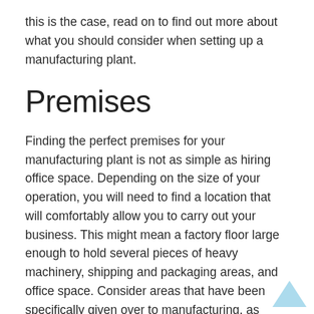this is the case, read on to find out more about what you should consider when setting up a manufacturing plant.
Premises
Finding the perfect premises for your manufacturing plant is not as simple as hiring office space. Depending on the size of your operation, you will need to find a location that will comfortably allow you to carry out your business. This might mean a factory floor large enough to hold several pieces of heavy machinery, shipping and packaging areas, and office space. Consider areas that have been specifically given over to manufacturing, as these will have many buildings that have been designed for this particular